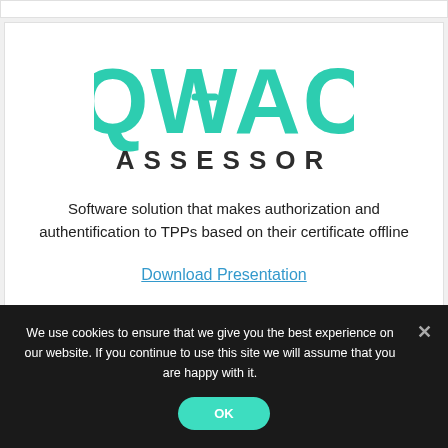[Figure (logo): QWAC ASSESSOR logo — 'QWAC' in large teal/turquoise lettering and 'ASSESSOR' in dark charcoal spaced capitals below]
Software solution that makes authorization and authentification to TPPs based on their certificate offline
Download Presentation
We use cookies to ensure that we give you the best experience on our website. If you continue to use this site we will assume that you are happy with it.
OK